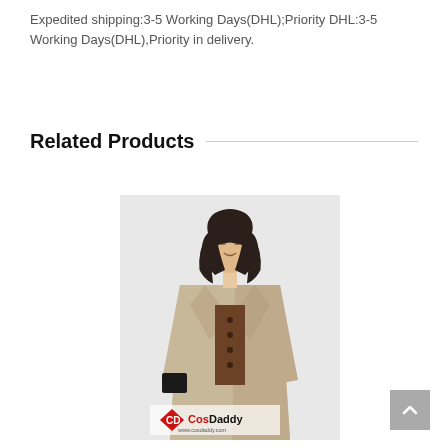Expedited shipping:3-5 Working Days(DHL);Priority DHL:3-5 Working Days(DHL),Priority in delivery.
Related Products
[Figure (photo): A mannequin wearing a beige/tan long trench coat with wide lapels and a brown top underneath, with dark shoulder-length hair. CosDaddy watermark logo visible at the bottom.]